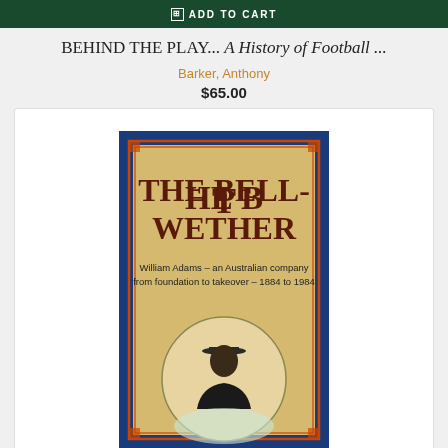ADD TO CART
BEHIND THE PLAY... A History of Football ...
Barker, Anthony
$65.00
[Figure (photo): Book cover of 'The Bell-Wether: William Adams – an Australian company from foundation to takeover – 1884 to 1984'. Blue border with ornamental corners, sandy/tan background, dark red serif title text, subtitle below, and a circular portrait image of a man in a bowler hat at the bottom.]